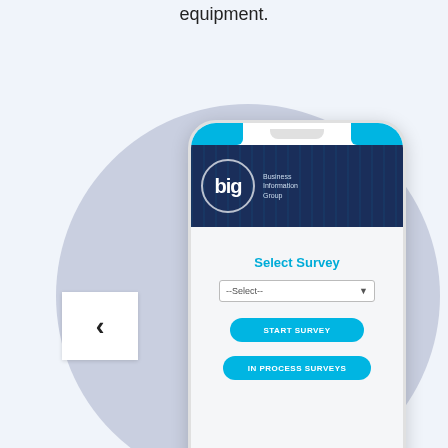equipment.
[Figure (screenshot): Mobile phone mockup showing a 'Business Information Group' app with a 'Select Survey' screen featuring a dropdown selector, 'START SURVEY' button, and 'IN PROCESS SURVEYS' button. Navigation arrows on left and right sides. Footer shows '© 2018 - Business Information Group'.]